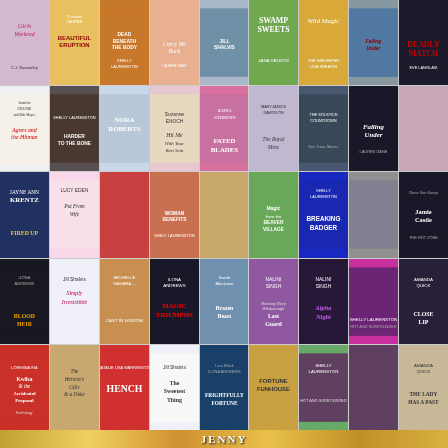[Figure (illustration): A grid of approximately 45 romance/fantasy novel book covers arranged in 5 rows of 9 columns, with a partial 6th row visible at the bottom. Books include titles by authors such as Jill Shalvis, Shelly Laurenston, Ilona Andrews, Nalini Singh, Amanda Quick, Jennifer Crusie, Jayne Ann Krentz, Nora Roberts, and many others. Genres visible include paranormal romance, contemporary romance, and urban fantasy.]